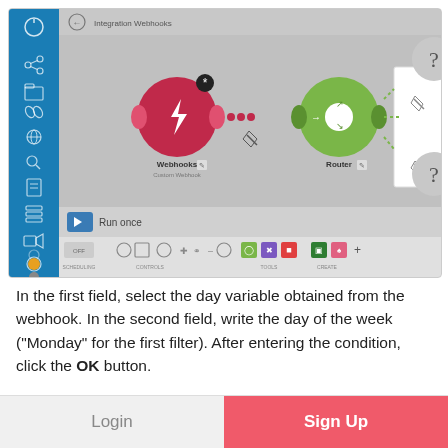[Figure (screenshot): Screenshot of a workflow automation tool (Make/Integromat) showing a canvas with a Webhooks node connected via dots to a Router node. There is a popup overlay box, two question-mark circles on the right, a sidebar with blue background and icons on the left, a 'Run once' bar, and a bottom toolbar with SCENARIO, CONTROLS, TOOLS, and CREATE sections.]
In the first field, select the day variable obtained from the webhook. In the second field, write the day of the week ("Monday" for the first filter). After entering the condition, click the OK button.
Login
Sign Up